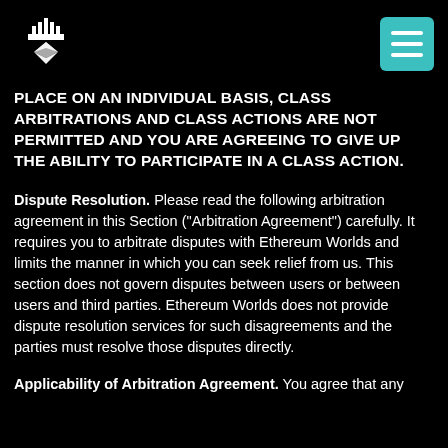Ethereum Worlds logo and hamburger menu
PLACE ON AN INDIVIDUAL BASIS, CLASS ARBITRATIONS AND CLASS ACTIONS ARE NOT PERMITTED AND YOU ARE AGREEING TO GIVE UP THE ABILITY TO PARTICIPATE IN A CLASS ACTION.
Dispute Resolution. Please read the following arbitration agreement in this Section (“Arbitration Agreement”) carefully. It requires you to arbitrate disputes with Ethereum Worlds and limits the manner in which you can seek relief from us. This section does not govern disputes between users or between users and third parties. Ethereum Worlds does not provide dispute resolution services for such disagreements and the parties must resolve those disputes directly.
Applicability of Arbitration Agreement. You agree that any